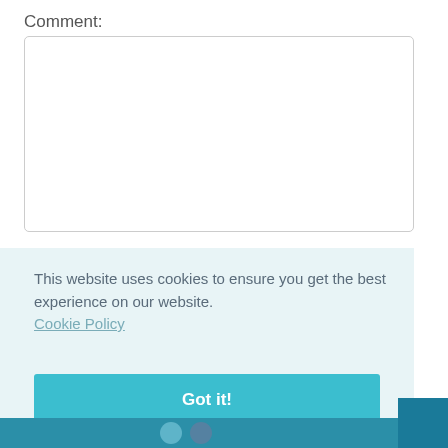Comment:
[Figure (other): Empty comment text area input box with resize handle]
This website uses cookies to ensure you get the best experience on our website.
Cookie Policy
Got it!